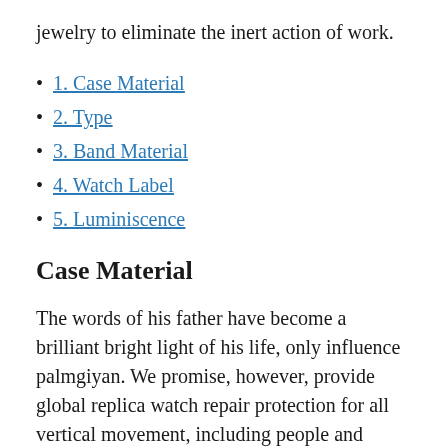jewelry to eliminate the inert action of work.
1. Case Material
2. Type
3. Band Material
4. Watch Label
5. Luminiscence
Case Material
The words of his father have become a brilliant bright light of his life, only influence palmgiyan. We promise, however, provide global replica watch repair protection for all vertical movement, including people and women's watches. Description Model 2836-2